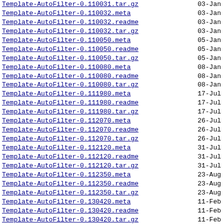Template-AutoFilter-0.110031.tar.gz  03-Jan
Template-AutoFilter-0.110032.meta  03-Jan
Template-AutoFilter-0.110032.readme  03-Jan
Template-AutoFilter-0.110032.tar.gz  03-Jan
Template-AutoFilter-0.110050.meta  05-Jan
Template-AutoFilter-0.110050.readme  05-Jan
Template-AutoFilter-0.110050.tar.gz  05-Jan
Template-AutoFilter-0.110080.meta  08-Jan
Template-AutoFilter-0.110080.readme  08-Jan
Template-AutoFilter-0.110080.tar.gz  08-Jan
Template-AutoFilter-0.111980.meta  17-Jul
Template-AutoFilter-0.111980.readme  17-Jul
Template-AutoFilter-0.111980.tar.gz  17-Jul
Template-AutoFilter-0.112070.meta  26-Jul
Template-AutoFilter-0.112070.readme  26-Jul
Template-AutoFilter-0.112070.tar.gz  26-Jul
Template-AutoFilter-0.112120.meta  31-Jul
Template-AutoFilter-0.112120.readme  31-Jul
Template-AutoFilter-0.112120.tar.gz  31-Jul
Template-AutoFilter-0.112350.meta  23-Aug
Template-AutoFilter-0.112350.readme  23-Aug
Template-AutoFilter-0.112350.tar.gz  23-Aug
Template-AutoFilter-0.130420.meta  11-Feb
Template-AutoFilter-0.130420.readme  11-Feb
Template-AutoFilter-0.130420.tar.gz  11-Feb
Template-AutoFilter-0.132690.meta  26-Sep
Template-AutoFilter-0.132690.readme  26-Sep
Template-AutoFilter-0.132690.tar.gz  26-Sep
Template-AutoFilter-0.143050.meta  01-Nov
Template-AutoFilter-0.143050.readme  01-Nov
Template-AutoFilter-0.143050.tar.gz  01-Nov